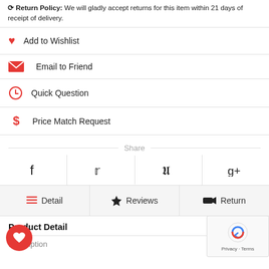Return Policy: We will gladly accept returns for this item within 21 days of receipt of delivery.
Add to Wishlist
Email to Friend
Quick Question
Price Match Request
Share
[Figure (infographic): Social share buttons: Facebook, Twitter, Pinterest, Google+]
[Figure (infographic): Tab navigation: Detail, Reviews, Return]
Product Detail
Description
[Figure (logo): reCAPTCHA badge with Privacy and Terms links]